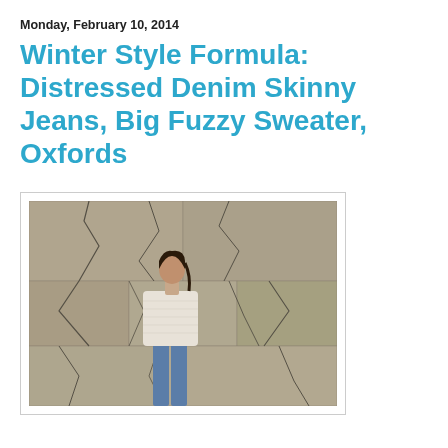Monday, February 10, 2014
Winter Style Formula: Distressed Denim Skinny Jeans, Big Fuzzy Sweater, Oxfords
[Figure (photo): A woman wearing a cream-colored fuzzy sweater and blue skinny jeans, standing in front of a cracked stone wall.]